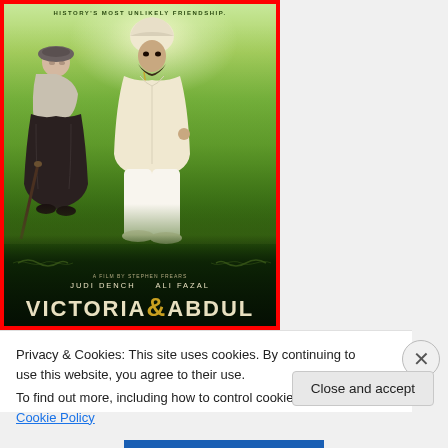[Figure (photo): Movie poster for Victoria & Abdul (2017). Two figures stand on a green lawn: an elderly woman in black Victorian dress holding a cane (Judi Dench as Queen Victoria) and a tall man in cream kurta with a white turban (Ali Fazal as Abdul Karim). Background shows lush green garden with trees and shrubbery in bright sunlight. Tagline reads 'History's Most Unlikely Friendship.' Actor credits: Judi Dench, Ali Fazal. Movie title: Victoria & Abdul in large letters with a golden ampersand. Red border around the poster.]
Privacy & Cookies: This site uses cookies. By continuing to use this website, you agree to their use.
To find out more, including how to control cookies, see here: Cookie Policy